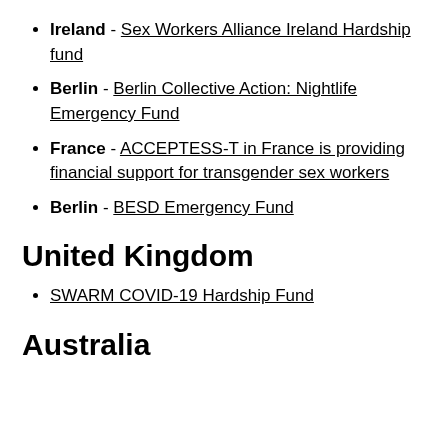Ireland - Sex Workers Alliance Ireland Hardship fund
Berlin - Berlin Collective Action: Nightlife Emergency Fund
France - ACCEPTESS-T in France is providing financial support for transgender sex workers
Berlin - BESD Emergency Fund
United Kingdom
SWARM COVID-19 Hardship Fund
Australia